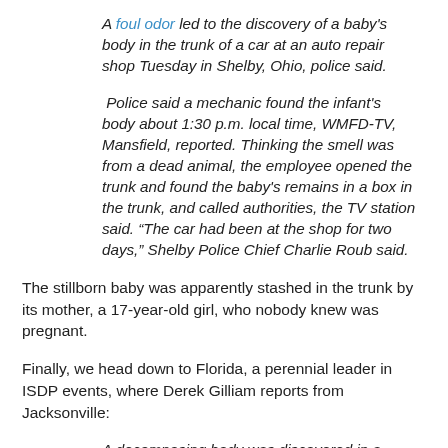A foul odor led to the discovery of a baby's body in the trunk of a car at an auto repair shop Tuesday in Shelby, Ohio, police said.
Police said a mechanic found the infant's body about 1:30 p.m. local time, WMFD-TV, Mansfield, reported. Thinking the smell was from a dead animal, the employee opened the trunk and found the baby's remains in a box in the trunk, and called authorities, the TV station said. “The car had been at the shop for two days,” Shelby Police Chief Charlie Roub said.
The stillborn baby was apparently stashed in the trunk by its mother, a 17-year-old girl, who nobody knew was pregnant.
Finally, we head down to Florida, a perennial leader in ISDP events, where Derek Gilliam reports from Jacksonville:
A decomposing body was discovered in a home Wednesday afternoon off North McDuff Avenue after complaints of a foul odor were reported to